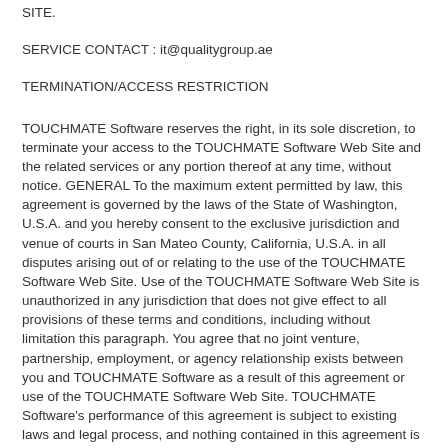SITE.
SERVICE CONTACT : it@qualitygroup.ae
TERMINATION/ACCESS RESTRICTION
TOUCHMATE Software reserves the right, in its sole discretion, to terminate your access to the TOUCHMATE Software Web Site and the related services or any portion thereof at any time, without notice. GENERAL To the maximum extent permitted by law, this agreement is governed by the laws of the State of Washington, U.S.A. and you hereby consent to the exclusive jurisdiction and venue of courts in San Mateo County, California, U.S.A. in all disputes arising out of or relating to the use of the TOUCHMATE Software Web Site. Use of the TOUCHMATE Software Web Site is unauthorized in any jurisdiction that does not give effect to all provisions of these terms and conditions, including without limitation this paragraph. You agree that no joint venture, partnership, employment, or agency relationship exists between you and TOUCHMATE Software as a result of this agreement or use of the TOUCHMATE Software Web Site. TOUCHMATE Software's performance of this agreement is subject to existing laws and legal process, and nothing contained in this agreement is in derogation of TOUCHMATE Software's right to comply with governmental, court and law enforcement requests or